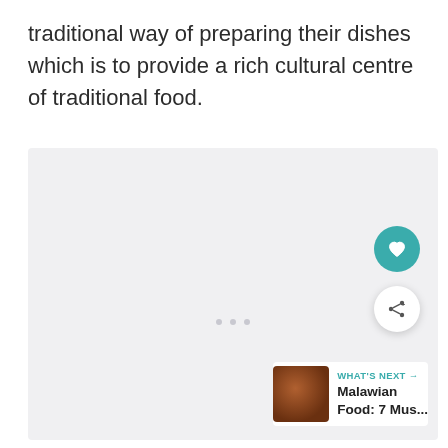traditional way of preparing their dishes which is to provide a rich cultural centre of traditional food.
[Figure (photo): Large light gray image area (photo placeholder/loading) with three small dots at bottom center indicating a carousel or loading state. Overlaid UI elements: a teal heart/like button, a white share button with share icon, and a 'What's Next' card showing a thumbnail and text 'Malawian Food: 7 Mus...']